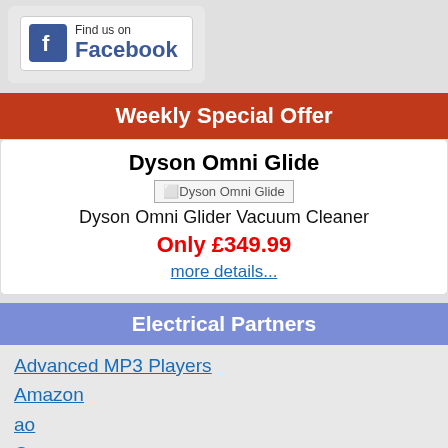[Figure (logo): Find us on Facebook button with Facebook logo icon]
Weekly Special Offer
Dyson Omni Glide
[Dyson Omni Glide image]
Dyson Omni Glider Vacuum Cleaner
Only £349.99
more details...
Electrical Partners
Advanced MP3 Players
Amazon
ao
Currys
Currys Partmaster
Electrical Discount
Hughes Direct
Rapid Electronics
Simply Electricals